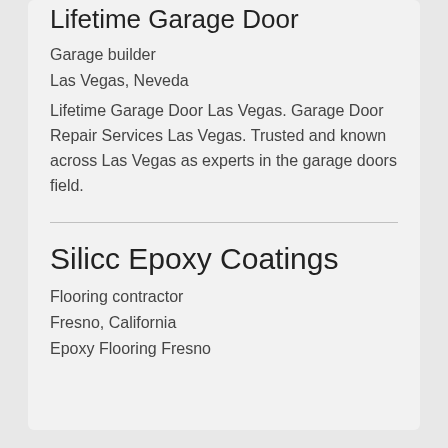Lifetime Garage Door
Garage builder
Las Vegas, Neveda
Lifetime Garage Door Las Vegas. Garage Door Repair Services Las Vegas. Trusted and known across Las Vegas as experts in the garage doors field.
Silicc Epoxy Coatings
Flooring contractor
Fresno, California
Epoxy Flooring Fresno